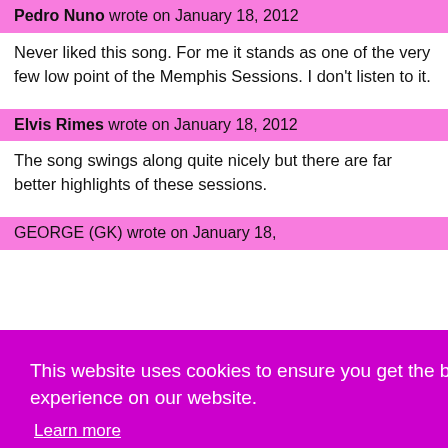Pedro Nuno wrote on January 18, 2012
Never liked this song. For me it stands as one of the very few low point of the Memphis Sessions. I don't listen to it.
Elvis Rimes wrote on January 18, 2012
The song swings along quite nicely but there are far better highlights of these sessions.
GEORGE (GK) wrote on January 18,
This website uses cookies to ensure you get the best experience on our website. Learn more
Got it!
ar
' are nt to
n it deserved to be a number one on the country